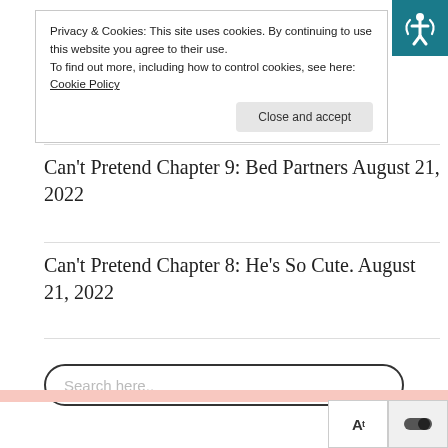Privacy & Cookies: This site uses cookies. By continuing to use this website you agree to their use.
To find out more, including how to control cookies, see here: Cookie Policy
Close and accept
Can't Pretend Chapter 9: Bed Partners August 21, 2022
Can't Pretend Chapter 8: He's So Cute. August 21, 2022
Search here..